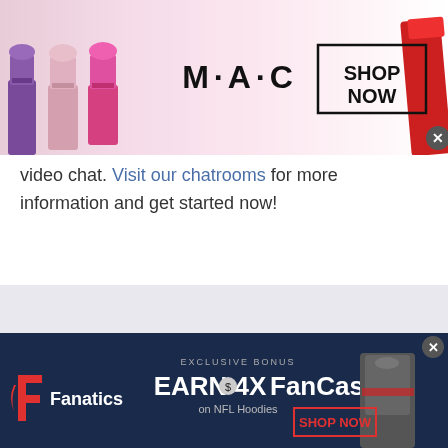[Figure (screenshot): MAC Cosmetics advertisement banner showing lipsticks on left, MAC logo in center, and a 'SHOP NOW' box on the right with a close button]
video chat. Visit our chatrooms for more information and get started now!
[Figure (screenshot): Fanatics advertisement banner showing logo, 'EXCLUSIVE BONUS EARN 4X FanCash on NFL Hoodies' text, a hoodie image, and 'SHOP NOW' button]